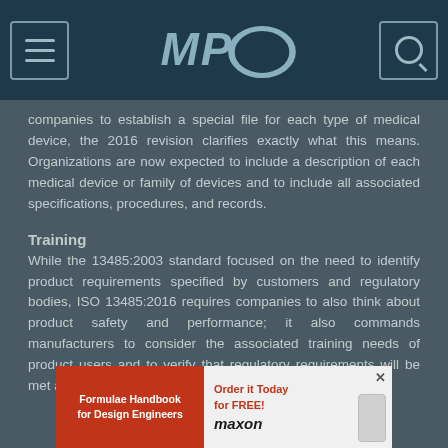MPO
companies to establish a special file for each type of medical device, the 2016 revision clarifies exactly what this means. Organizations are now expected to include a description of each medical device or family of devices and to include all associated specifications, procedures, and records.
Training
While the 13485:2003 standard focused on the need to identify product requirements specified by customers and regulatory bodies, ISO 13485:2016 requires companies to also think about product safety and performance; it also commands manufacturers to consider the associated training needs of product users and to verify that regulatory requirements will be met and user training will be available
[Figure (other): Advertisement banner for Formulae Handbook for Design Engineers by maxon, with Order It Today for FREE button and X close button]